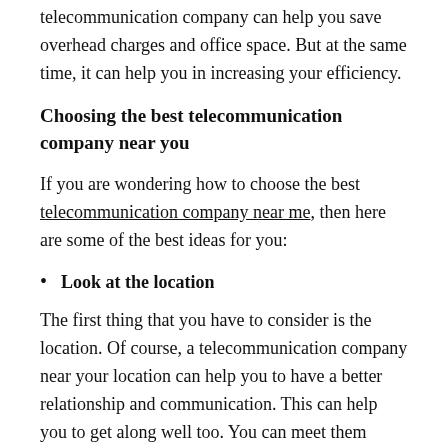telecommunication company can help you save overhead charges and office space. But at the same time, it can help you in increasing your efficiency.
Choosing the best telecommunication company near you
If you are wondering how to choose the best telecommunication company near me, then here are some of the best ideas for you:
Look at the location
The first thing that you have to consider is the location. Of course, a telecommunication company near your location can help you to have a better relationship and communication. This can help you to get along well too. You can meet them whenever